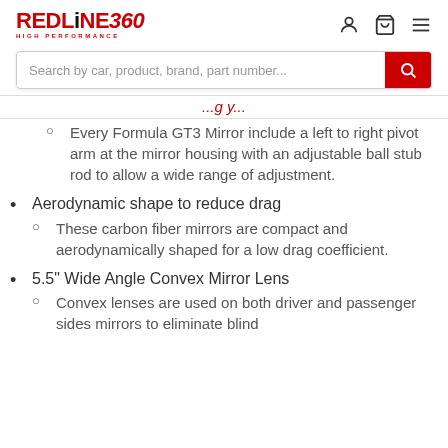REDLINE360 HIGH PERFORMANCE — header with search, user, cart, menu icons
...g y...
Every Formula GT3 Mirror include a left to right pivot arm at the mirror housing with an adjustable ball stub rod to allow a wide range of adjustment.
Aerodynamic shape to reduce drag
These carbon fiber mirrors are compact and aerodynamically shaped for a low drag coefficient.
5.5" Wide Angle Convex Mirror Lens
Convex lenses are used on both driver and passenger sides mirrors to eliminate blind